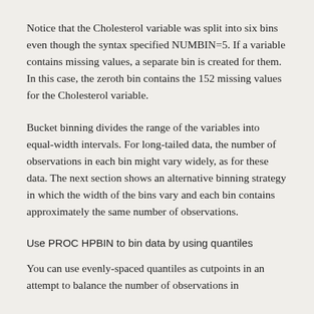Notice that the Cholesterol variable was split into six bins even though the syntax specified NUMBIN=5. If a variable contains missing values, a separate bin is created for them. In this case, the zeroth bin contains the 152 missing values for the Cholesterol variable.
Bucket binning divides the range of the variables into equal-width intervals. For long-tailed data, the number of observations in each bin might vary widely, as for these data. The next section shows an alternative binning strategy in which the width of the bins vary and each bin contains approximately the same number of observations.
Use PROC HPBIN to bin data by using quantiles
You can use evenly-spaced quantiles as cutpoints in an attempt to balance the number of observations in